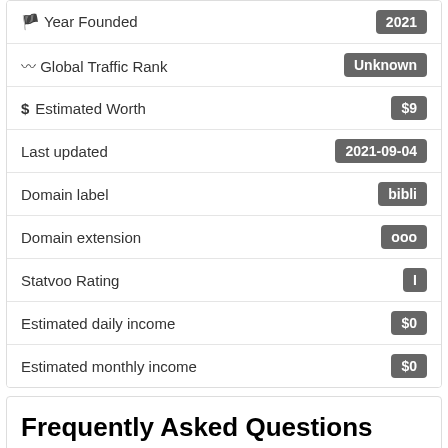| Field | Value |
| --- | --- |
| 🏴 Year Founded | 2021 |
| 〰 Global Traffic Rank | Unknown |
| $ Estimated Worth | $9 |
| Last updated | 2021-09-04 |
| Domain label | bibli |
| Domain extension | ooo |
| Statvoo Rating | I |
| Estimated daily income | $0 |
| Estimated monthly income | $0 |
Frequently Asked Questions (FAQ)
Q: When was Bibli.ooo registered?